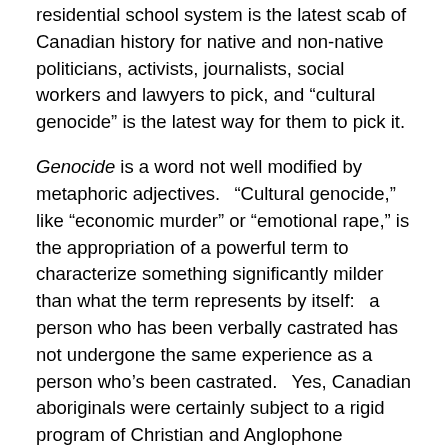residential school system is the latest scab of Canadian history for native and non-native politicians, activists, journalists, social workers and lawyers to pick, and “cultural genocide” is the latest way for them to pick it.
Genocide is a word not well modified by metaphoric adjectives. “Cultural genocide,” like “economic murder” or “emotional rape,” is the appropriation of a powerful term to characterize something significantly milder than what the term represents by itself: a person who has been verbally castrated has not undergone the same experience as a person who’s been castrated. Yes, Canadian aboriginals were certainly subject to a rigid program of Christian and Anglophone conditioning, intended to make them productive members of a modern Christian and Anglophone society. However cruel and insensitive this might seem in retrospect, though – and whatever cruelties